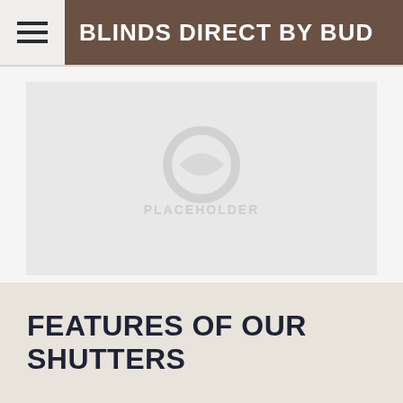BLINDS DIRECT BY BUD
[Figure (photo): Placeholder image area with watermark/logo for Blinds Direct by Bud, showing a faded circular icon and text watermark on a light gray background.]
FEATURES OF OUR SHUTTERS